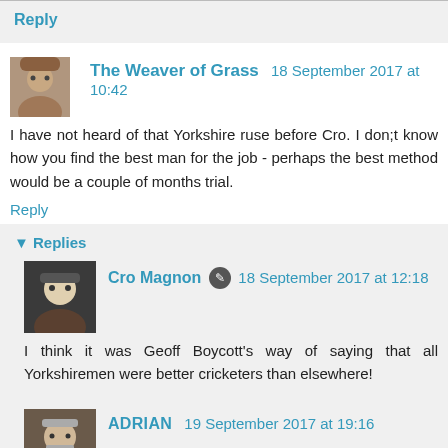Reply
The Weaver of Grass  18 September 2017 at 10:42
I have not heard of that Yorkshire ruse before Cro. I don;t know how you find the best man for the job - perhaps the best method would be a couple of months trial.
Reply
Replies
Cro Magnon  18 September 2017 at 12:18
I think it was Geoff Boycott's way of saying that all Yorkshiremen were better cricketers than elsewhere!
ADRIAN  19 September 2017 at 19:16
A couple of months is fine if the tax payer is